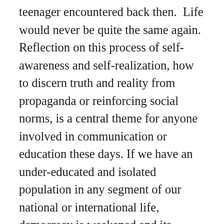teenager encountered back then.  Life would never be quite the same again. Reflection on this process of self-awareness and self-realization, how to discern truth and reality from propaganda or reinforcing social norms, is a central theme for anyone involved in communication or education these days. If we have an under-educated and isolated population in any segment of our national or international life, democracy is weakened and its alternatives of theocracies, autocracies and totalitarianism, sparkle in the eyes of the marginalized masses. I reflect on our lack of attention and investment in education and equal opportunity in the USA as a root cause of the growing divide in the country and we are